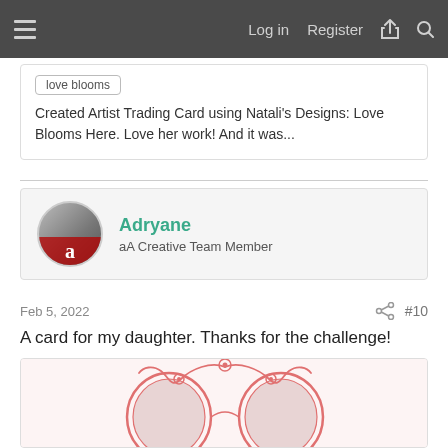Log in  Register
love blooms
Created Artist Trading Card using Natali's Designs: Love Blooms Here. Love her work! And it was...
Adryane
aA Creative Team Member
Feb 5, 2022  #10
A card for my daughter. Thanks for the challenge!
[Figure (illustration): Decorative card with pink floral ornamental design, two circular frames with vintage photographs, elaborate flourish border]